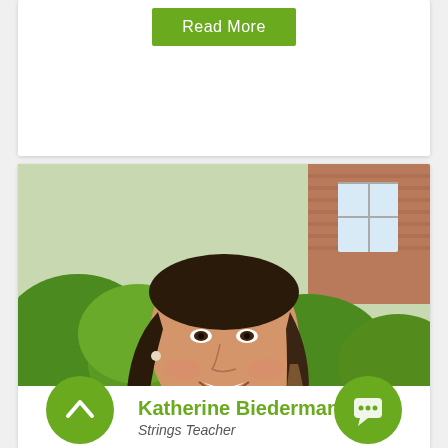Read More
[Figure (photo): Outdoor portrait of a smiling woman with long dark hair wearing a red top, with green bushes and a brick building in the background]
Katherine Biederman
Strings Teacher